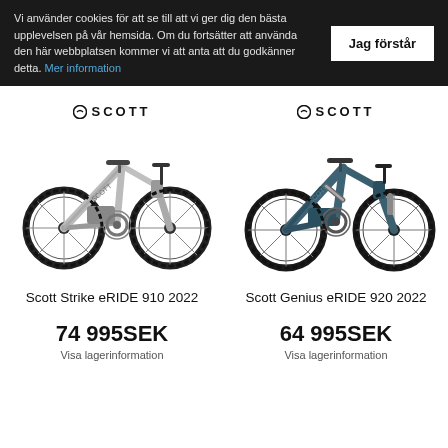Vi använder cookies för att se till att vi ger dig den bästa upplevelsen på vår hemsida. Om du fortsätter att använda den här webbplatsen kommer vi att anta att du godkänner detta. Mer information
Jag förstår
[Figure (photo): Scott Strike eRIDE 910 2022 electric mountain bike in light grey/white color]
[Figure (photo): Scott Genius eRIDE 920 2022 electric mountain bike in dark teal/blue color]
Scott Strike eRIDE 910 2022
Scott Genius eRIDE 920 2022
74 995SEK
64 995SEK
Visa lagerinformation
Visa lagerinformation